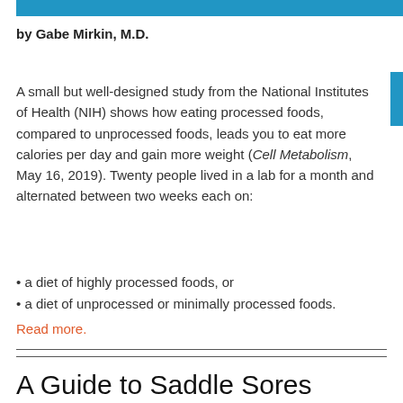by Gabe Mirkin, M.D.
A small but well-designed study from the National Institutes of Health (NIH) shows how eating processed foods, compared to unprocessed foods, leads you to eat more calories per day and gain more weight (Cell Metabolism, May 16, 2019). Twenty people lived in a lab for a month and alternated between two weeks each on:
• a diet of highly processed foods, or
• a diet of unprocessed or minimally processed foods.
Read more.
A Guide to Saddle Sores